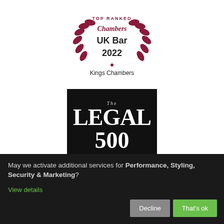[Figure (logo): Chambers UK Bar 2022 Top Ranked badge with laurel wreath in dark red/maroon, Kings Chambers text below]
[Figure (logo): The Legal 500 United Kingdom Top Tier 2022 badge on black background with gold text]
May we activate additional services for Performance, Styling, Security & Marketing?
View details
Decline
That's ok